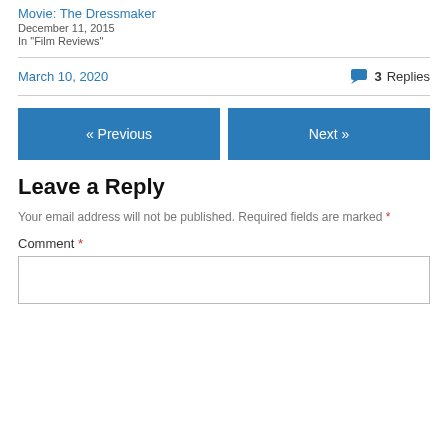Movie: The Dressmaker
December 11, 2015
In "Film Reviews"
March 10, 2020
3 Replies
« Previous
Next »
Leave a Reply
Your email address will not be published. Required fields are marked *
Comment *